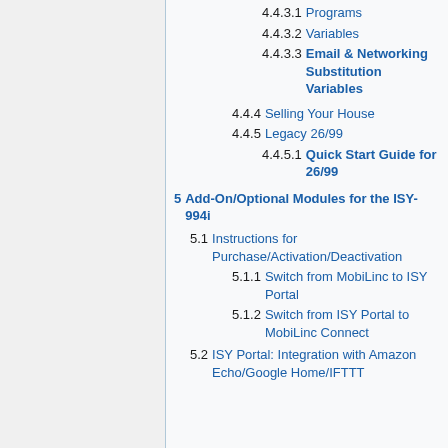4.4.3.1 Programs
4.4.3.2 Variables
4.4.3.3 Email & Networking Substitution Variables
4.4.4 Selling Your House
4.4.5 Legacy 26/99
4.4.5.1 Quick Start Guide for 26/99
5 Add-On/Optional Modules for the ISY-994i
5.1 Instructions for Purchase/Activation/Deactivation
5.1.1 Switch from MobiLinc to ISY Portal
5.1.2 Switch from ISY Portal to MobiLinc Connect
5.2 ISY Portal: Integration with Amazon Echo/Google Home/IFTTT